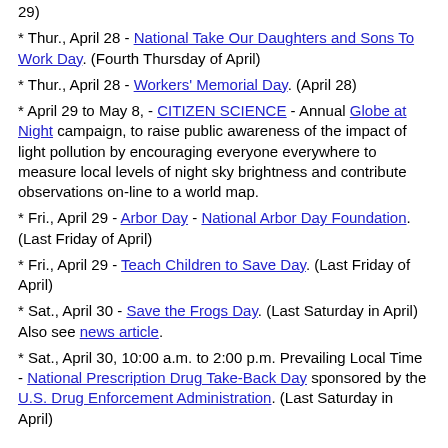29)
* Thur., April 28 - National Take Our Daughters and Sons To Work Day. (Fourth Thursday of April)
* Thur., April 28 - Workers' Memorial Day. (April 28)
* April 29 to May 8, - CITIZEN SCIENCE - Annual Globe at Night campaign, to raise public awareness of the impact of light pollution by encouraging everyone everywhere to measure local levels of night sky brightness and contribute observations on-line to a world map.
* Fri., April 29 - Arbor Day - National Arbor Day Foundation. (Last Friday of April)
* Fri., April 29 - Teach Children to Save Day. (Last Friday of April)
* Sat., April 30 - Save the Frogs Day. (Last Saturday in April) Also see news article.
* Sat., April 30, 10:00 a.m. to 2:00 p.m. Prevailing Local Time - National Prescription Drug Take-Back Day sponsored by the U.S. Drug Enforcement Administration. (Last Saturday in April)